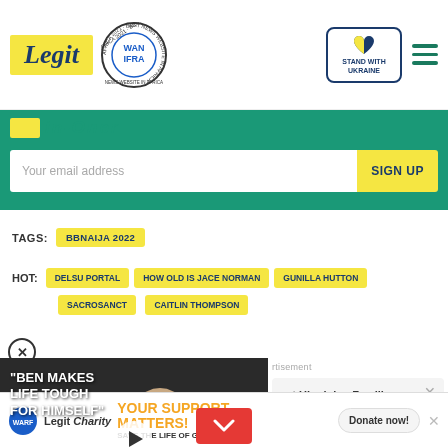Legit | WAN IFRA 2021 Best News Website in Africa | Stand With Ukraine
in-Omer
Your email address  SIGN UP
TAGS:  BBNAIJA 2022
HOT:  DELSU PORTAL  HOW OLD IS JACE NORMAN  GUNILLA HUTTON  SACROSANCT  CAITLIN THOMPSON
[Figure (screenshot): Video thumbnail showing a couple and text: BEN MAKES LIFE TOUGH FOR HIMSELF, with play button overlay]
ect Ukrainian Families  DONATE NOW
Advertisement
YOUR SUPPORT MATTERS! SAVE THE LIFE OF GIRL AT RISK  Donate now!